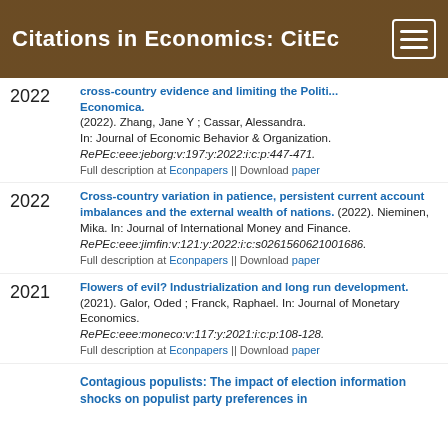Citations in Economics: CitEc
2022. Cross-country evidence and limiting the Political Economica. (2022). Zhang, Jane Y ; Cassar, Alessandra. In: Journal of Economic Behavior & Organization. RePEc:eee:jeborg:v:197:y:2022:i:c:p:447-471. Full description at Econpapers || Download paper
2022. Cross-country variation in patience, persistent current account imbalances and the external wealth of nations. (2022). Nieminen, Mika. In: Journal of International Money and Finance. RePEc:eee:jimfin:v:121:y:2022:i:c:s0261560621001686. Full description at Econpapers || Download paper
2021. Flowers of evil? Industrialization and long run development. (2021). Galor, Oded ; Franck, Raphael. In: Journal of Monetary Economics. RePEc:eee:moneco:v:117:y:2021:i:c:p:108-128. Full description at Econpapers || Download paper
Contagious populists: The impact of election information shocks on populist party preferences in